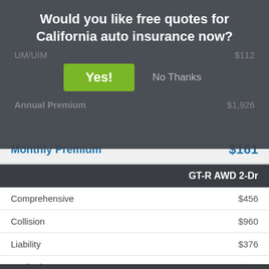Would you like free quotes for California auto insurance now?
|  | GT-R AWD 2-Dr |
| --- | --- |
| Comprehensive | $456 |
| Collision | $960 |
| Liability | $376 |
| Medical | $22 |
| UM/UIM | $112 |
| Annual Premium | $1,926 |
| Monthly Premium | $161 |